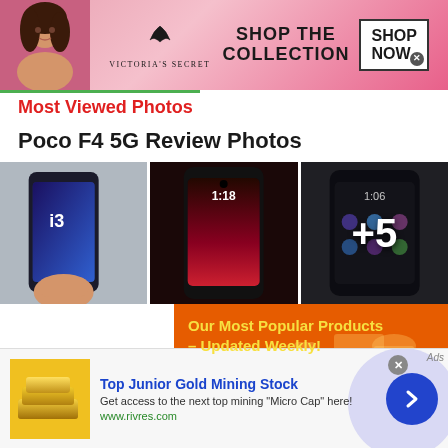[Figure (screenshot): Victoria's Secret advertisement banner with woman, VS logo, 'SHOP THE COLLECTION' text, and 'SHOP NOW' button]
Most Viewed Photos
Poco F4 5G Review Photos
[Figure (photo): Three smartphone photos showing Poco F4 5G from different angles. Third image has '+5' overlay indicating more photos.]
[Figure (screenshot): Orange advertisement banner: 'Our Most Popular Products – Updated Weekly!']
[Figure (screenshot): Bottom advertisement for 'Top Junior Gold Mining Stock' with gold bars image, text 'Get access to the next top mining "Micro Cap" here!', URL www.rivres.com, and arrow button]